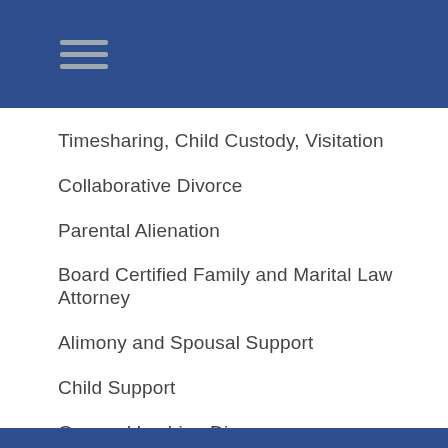Navigation menu
Timesharing, Child Custody, Visitation
Collaborative Divorce
Parental Alienation
Board Certified Family and Marital Law Attorney
Alimony and Spousal Support
Child Support
Gay and Lesbian Divorce
Prenuptial and Postnuptial Agreements
Child Abuse Defense